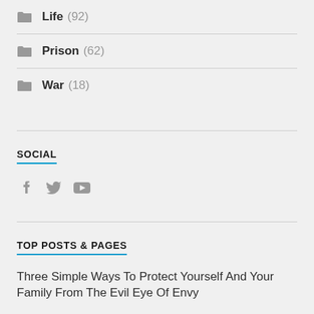Life (92)
Prison (62)
War (18)
SOCIAL
[Figure (other): Social media icons: Facebook, Twitter, YouTube]
TOP POSTS & PAGES
Three Simple Ways To Protect Yourself And Your Family From The Evil Eye Of Envy